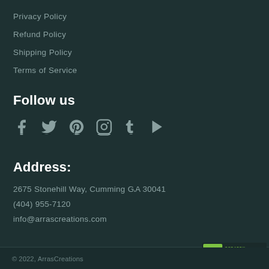Privacy Policy
Refund Policy
Shipping Policy
Terms of Service
Follow us
[Figure (illustration): Social media icons: Facebook, Twitter, Pinterest, Instagram, Tumblr, YouTube]
Address:
2675 Stonehill Way, Cumming GA 30041
(404) 955-7120
info@arrascreations.com
[Figure (logo): GoDaddy Verified & Secured badge]
© 2022, ArrasCreations